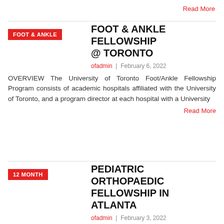Read More
FOOT & ANKLE FELLOWSHIP @ TORONTO
ofadmin | February 6, 2022
OVERVIEW The University of Toronto Foot/Ankle Fellowship Program consists of academic hospitals affiliated with the University of Toronto, and a program director at each hospital with a University
Read More
PEDIATRIC ORTHOPAEDIC FELLOWSHIP IN ATLANTA
ofadmin | February 3, 2022
Description of Fellowship: Emory